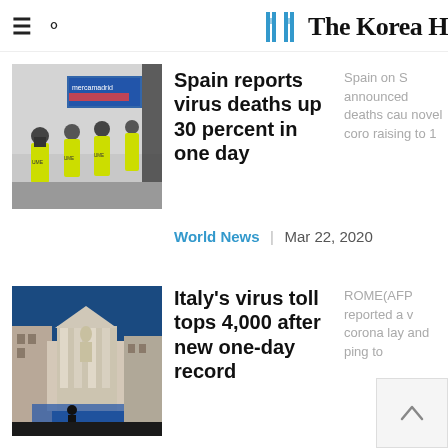The Korea Herald
[Figure (photo): Workers in yellow safety vests at a mercamadrid facility with blue signage, viewed from behind]
Spain reports virus deaths up 30 percent in one day
Spain on S announced deaths cau novel coro raising to 1
World News | Mar 22, 2020
[Figure (photo): Trevi Fountain in Rome, Italy with dark silhouettes and blue sky, nearly empty plaza]
Italy's virus toll tops 4,000 after new one-day record
ROME(AFP reported a v corona lay and ping to